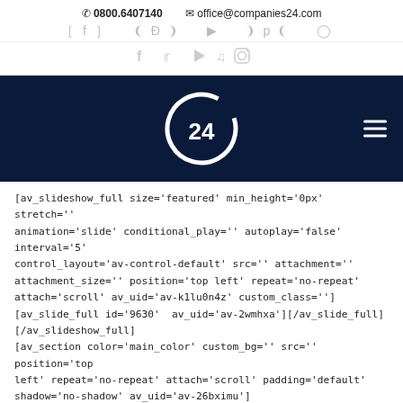📞 0800.6407140  ✉ office@companies24.com
[Figure (logo): Companies24 logo - white C24 circular logo on dark navy background with hamburger menu icon]
[av_slideshow_full size='featured' min_height='0px' stretch='' animation='slide' conditional_play='' autoplay='false' interval='5' control_layout='av-control-default' src='' attachment='' attachment_size='' position='top left' repeat='no-repeat' attach='scroll' av_uid='av-k1lu0n4z' custom_class='']
[av_slide_full id='9630'  av_uid='av-2wmhxa'][/av_slide_full]
[/av_slideshow_full]
[av_section color='main_color' custom_bg='' src='' position='top left' repeat='no-repeat' attach='scroll' padding='default' shadow='no-shadow' av_uid='av-26bximu']
[av_one_third first av_uid='av-7p5y92'  ]
[av_slideshow size='medium' animation='slide' autoplay='false' interval='5'  av_uid='av-231g1ja']
[av_slide id='316'  av_uid='av-21b3j2e']
[av_slide id='315'  av_uid='av-7725gu']